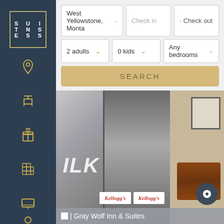[Figure (logo): Suiteness logo - dark navy sidebar with gold border box containing SUI TEN ESS text]
[Figure (screenshot): Hotel booking search interface with location West Yellowstone, Montana, check in/out fields, 2 adults, 0 kids, Any bedrooms dropdowns, and SEARCH button]
[Figure (photo): Hotel breakfast area showing stainless steel milk dispenser with ILK text visible, four Kellogg's cereal dispensers, a wicker basket, and a framed picture on the wall]
| Gray Wolf Inn & Suites